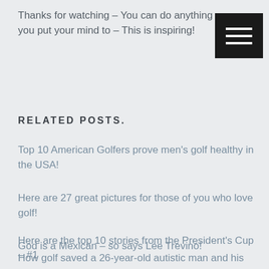Thanks for watching – You can do anything you put your mind to – This is inspiring!
[Figure (other): Hamburger menu icon — black square with three horizontal white lines]
RELATED POSTS.
Top 10 American Golfers prove men's golf healthy in the USA!
Here are 27 great pictures for those of you who love golf!
God is a Mexican – so says Lee Trevino!
How golf saved a 26-year-old autistic man and his family!
Here are the top 10 stories from the President's Cup – #1